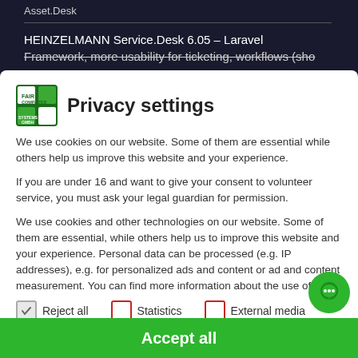Asset.Desk
HEINZELMANN Service.Desk 6.05 – Laravel Framework, more usability for ticketing, workflows (sho...
Privacy settings
We use cookies on our website. Some of them are essential while others help us improve this website and your experience.
If you are under 16 and want to give your consent to volunteer service, you must ask your legal guardian for permission.
We use cookies and other technologies on our website. Some of them are essential, while others help us to improve this website and your experience. Personal data can be processed (e.g. IP addresses), e.g. for personalized ads and content or ad and content measurement. You can find more information about the use of your data in our Privacy Policy. Your selection can be changed or revoked at any time in the Settings revoke or adjust.
Reject all
Statistics
External media
Accept all